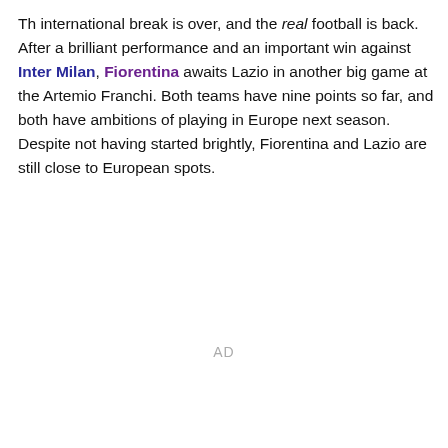Th international break is over, and the real football is back. After a brilliant performance and an important win against Inter Milan, Fiorentina awaits Lazio in another big game at the Artemio Franchi. Both teams have nine points so far, and both have ambitions of playing in Europe next season. Despite not having started brightly, Fiorentina and Lazio are still close to European spots.
AD